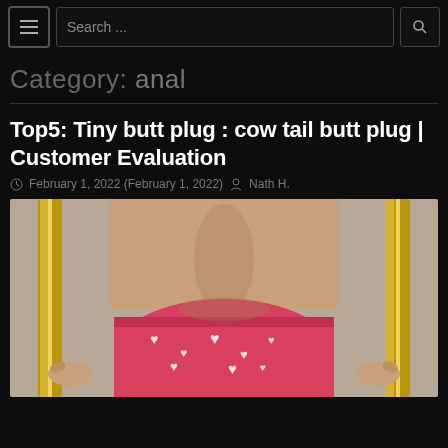Search ...
Category: anal
Top5: Tiny butt plug : cow tail butt plug | Customer Evaluation
February 1, 2022 (February 1, 2022)  Nath H.
[Figure (photo): Person from behind wearing pink heart-print shorts, holding a gold picture frame around themselves, photographed from waist down against neutral background.]